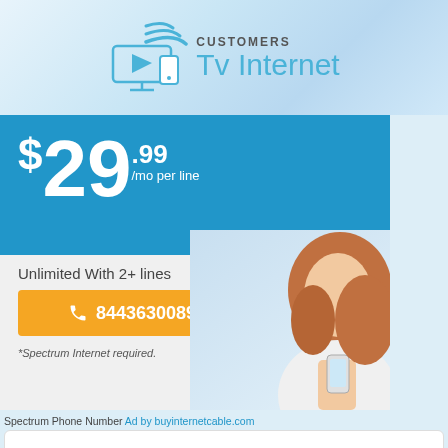[Figure (logo): TV Internet Customers logo with monitor/wifi icon in blue, text 'CUSTOMERS Tv Internet']
[Figure (infographic): Spectrum Internet ad banner: $29.99/mo per line, Unlimited With 2+ lines, phone number 8443630089, Shop Now button, woman using phone]
Spectrum Phone Number Ad by buyinternetcable.com
Search Now